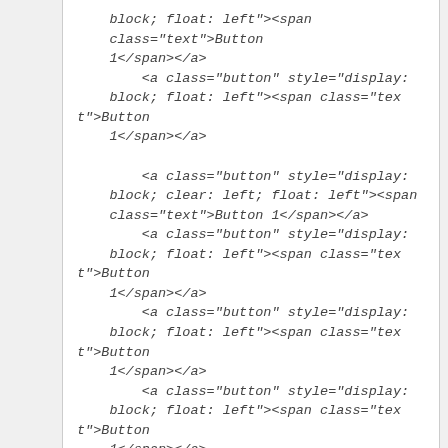<a class="button" style="display: block; float: left"><span class="text">Button 1</span></a>
        <a class="button" style="display: block; float: left"><span class="text">Button 1</span></a>

        <a class="button" style="display: block; clear: left; float: left"><span class="text">Button 1</span></a>
        <a class="button" style="display: block; float: left"><span class="text">Button 1</span></a>
        <a class="button" style="display: block; float: left"><span class="text">Button 1</span></a>
        <a class="button" style="display: block; float: left"><span class="text">Button 1</span></a>

        <a class="button" style="display: block; clear: left; float: left"><span class="text">Button 1</span></a>
        <a class="button" style="display: block; float: left"><span class="text">Button 1</span></a>
        <a class="button" style="display: block; float: left">